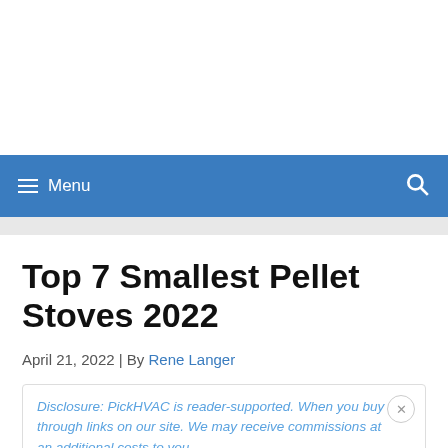Menu
Top 7 Smallest Pellet Stoves 2022
April 21, 2022 | By Rene Langer
Disclosure: PickHVAC is reader-supported. When you buy through links on our site. We may receive commissions at an additional costs to you.